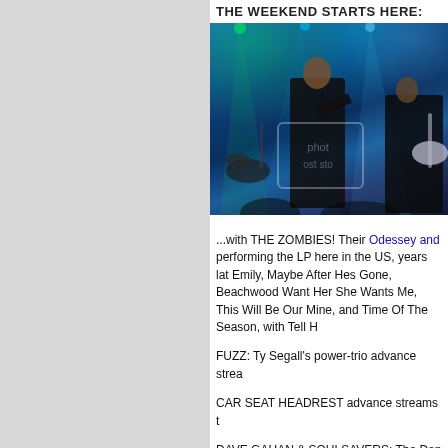THE WEEKEND STARTS HERE:
[Figure (photo): Concert photo showing a bearded male vocalist performing on stage with blue/green stage lighting and a guitarist visible on the right. Stock photo watermark visible.]
...with THE ZOMBIES! Their Odessey and performing the LP here in the US, years lat Emily, Maybe After Hes Gone, Beachwood Want Her She Wants Me, This Will Be Our Mine, and Time Of The Season, with Tell H
FUZZ: Ty Segall's power-trio advance strea
CAR SEAT HEADREST advance streams t
DAVE GAHAN & SOULSAVERS: The Dep Ghosts.